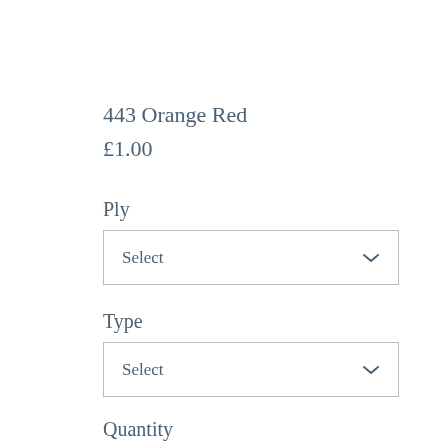443 Orange Red
£1.00
Ply
[Figure (screenshot): Dropdown selector labeled 'Select' with chevron arrow for Ply option]
Type
[Figure (screenshot): Dropdown selector labeled 'Select' with chevron arrow for Type option]
Quantity
[Figure (screenshot): Quantity input box showing value 1]